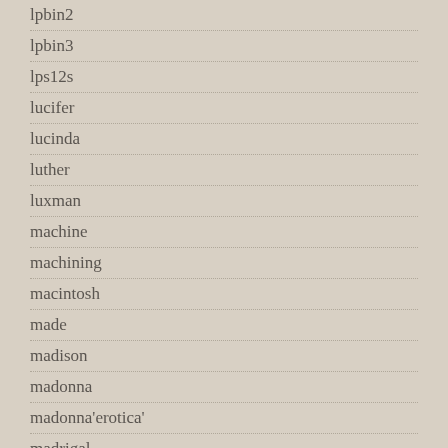lpbin2
lpbin3
lps12s
lucifer
lucinda
luther
luxman
machine
machining
macintosh
made
madison
madonna
madonna'erotica'
madrigal
madrigal's